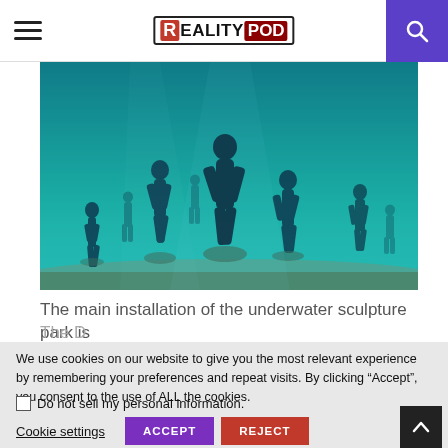RealityPod
[Figure (photo): Underwater sculpture park showing multiple human-shaped silhouettes standing on the ocean floor in blue-green tinted water]
The main installation of the underwater sculpture park is
We use cookies on our website to give you the most relevant experience by remembering your preferences and repeat visits. By clicking “Accept”, you consent to the use of ALL the cookies.
Do not sell my personal information.
Cookie settings | ACCEPT | REJECT